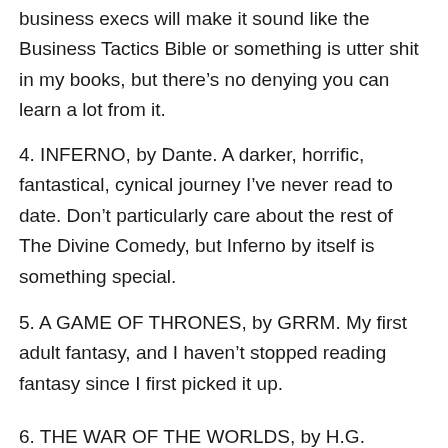business execs will make it sound like the Business Tactics Bible or something is utter shit in my books, but there's no denying you can learn a lot from it.
4. INFERNO, by Dante. A darker, horrific, fantastical, cynical journey I've never read to date. Don't particularly care about the rest of The Divine Comedy, but Inferno by itself is something special.
5. A GAME OF THRONES, by GRRM. My first adult fantasy, and I haven't stopped reading fantasy since I first picked it up.
6. THE WAR OF THE WORLDS, by H.G.